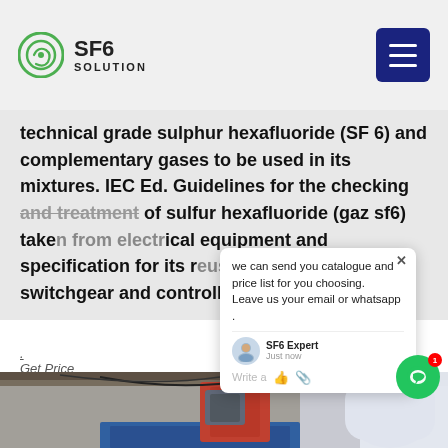SF6 SOLUTION
technical grade sulphur hexafluoride (SF 6) and complementary gases to be used in its mixtures. IEC Ed. Guidelines for the checking and treatment of sulfur hexafluoride (gaz sf6) taken from electrical equipment and specification for its reuse. High voltage switchgear and controlgear gas.
we can send you catalogue and price list for you choosing. Leave us your email or whatsapp .
Get Price
[Figure (photo): Industrial facility with electrical equipment, switchgear machinery in a warehouse/factory setting with blue containers and overhead rigging.]